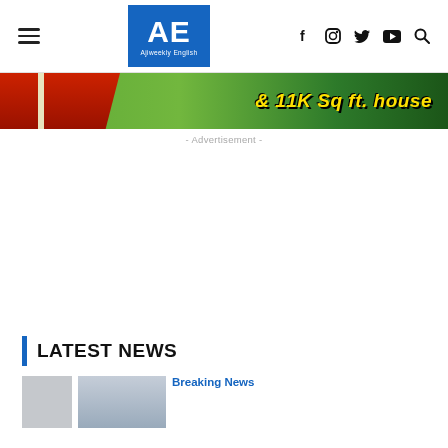AE Ajiweekly English — navigation header with hamburger menu, logo, and social icons (f, instagram, twitter, youtube, search)
[Figure (photo): Advertisement banner image with green lawn background, red FOR SALE sign on left, and yellow bold italic text '& 11K Sq ft. house' on the right]
- Advertisement -
LATEST NEWS
Breaking News